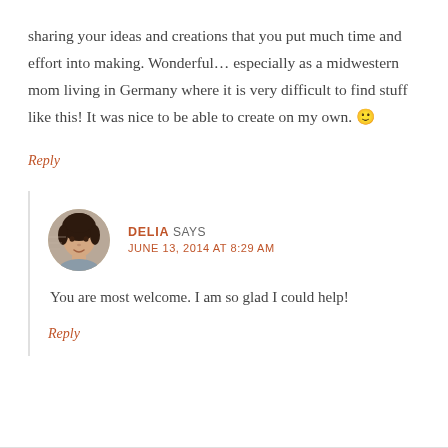sharing your ideas and creations that you put much time and effort into making. Wonderful… especially as a midwestern mom living in Germany where it is very difficult to find stuff like this! It was nice to be able to create on my own. 🙂
Reply
DELIA SAYS
JUNE 13, 2014 AT 8:29 AM
You are most welcome. I am so glad I could help!
Reply